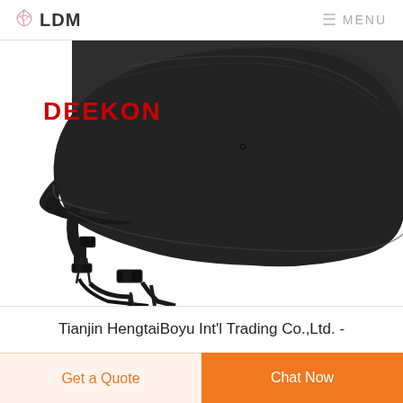LDM  ≡ MENU
[Figure (photo): Black military/tactical ballistic helmet (PASGT/MICH style) with chin strap hardware, photographed from the side on a white background. Red DEEKON logo text in upper left of image.]
Tianjin HengtaiBoyu Int'l Trading Co.,Ltd. -
Get a Quote
Chat Now